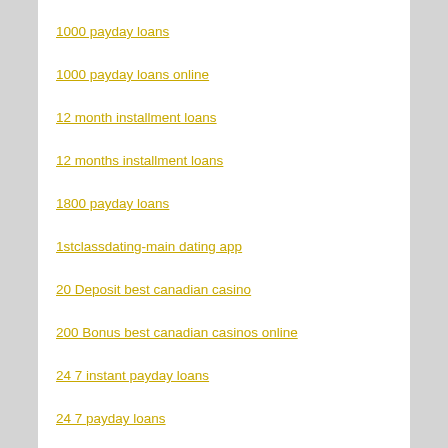1000 payday loans
1000 payday loans online
12 month installment loans
12 months installment loans
1800 payday loans
1stclassdating-main dating app
20 Deposit best canadian casino
200 Bonus best canadian casinos online
24 7 instant payday loans
24 7 payday loans
24 7 title loans